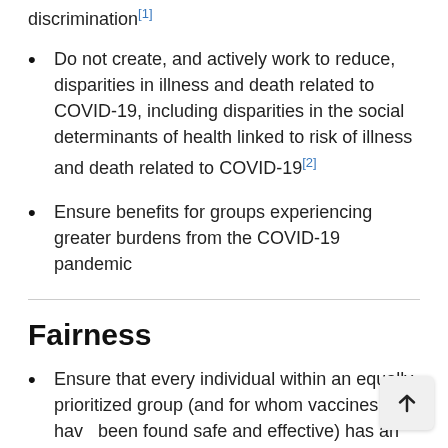discrimination[1]
Do not create, and actively work to reduce, disparities in illness and death related to COVID-19, including disparities in the social determinants of health linked to risk of illness and death related to COVID-19[2]
Ensure benefits for groups experiencing greater burdens from the COVID-19 pandemic
Fairness
Ensure that every individual within an equally prioritized group (and for whom vaccines have been found safe and effective) has an equal opportunity to be vaccinated